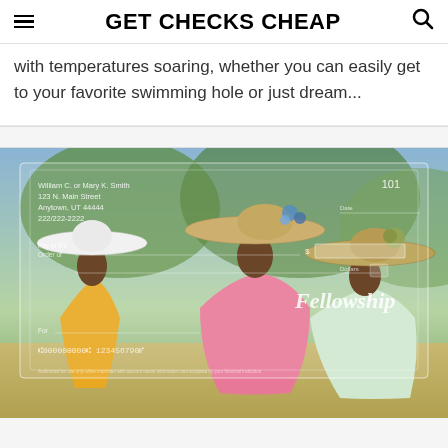GET CHECKS CHEAP
with temperatures soaring, whether you can easily get to your favorite swimming hole or just dream...
[Figure (photo): A decorative bank check featuring two women wearing elegant wide-brim hats, one in yellow and one in pink, with check details: William C. or Mary K. Smith, 123 N. Main Street, Anytown, UT 44444, 222/222-2222, check number 101, routing number :000000000: 123456790, and the word Fellowship in cursive script.]